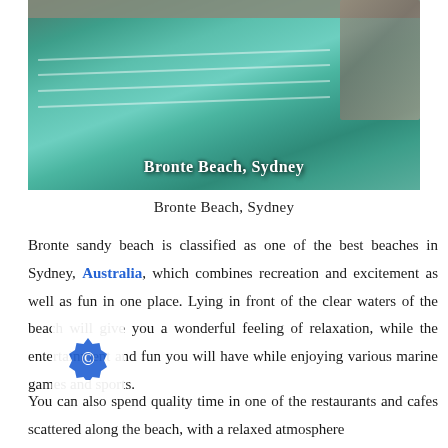[Figure (photo): Aerial view of Bronte Beach ocean pool in Sydney, showing swimmers in clear green-teal water with lane ropes. Rocky coastline visible on the right. Text overlay reads 'Bronte Beach, Sydney'.]
Bronte Beach, Sydney
Bronte sandy beach is classified as one of the best beaches in Sydney, Australia, which combines recreation and excitement as well as fun in one place. Lying in front of the clear waters of the beach will give you a wonderful feeling of relaxation, while the entertainment and fun you will have while enjoying various marine games and sports.
You can also spend quality time in one of the restaurants and cafes scattered along the beach, with a relaxed atmosphere